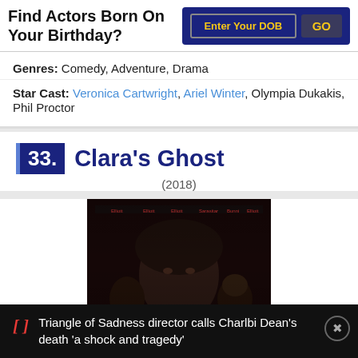Find Actors Born On Your Birthday?
Genres: Comedy, Adventure, Drama
Star Cast: Veronica Cartwright, Ariel Winter, Olympia Dukakis, Phil Proctor
33. Clara's Ghost (2018)
[Figure (photo): Movie poster/still for Clara's Ghost (2018) showing dark background with people's faces]
Triangle of Sadness director calls Charlbi Dean's death 'a shock and tragedy'